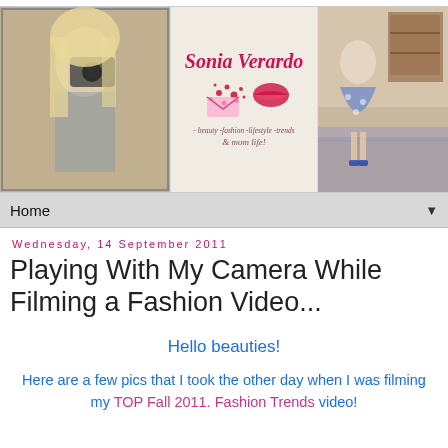[Figure (photo): Blog header banner with three sections: left - a blonde woman taking a selfie with a camera in a mirror; center - blog logo 'Sonia Verardo' with decorative hearts and lips, tagline '- beauty -fashion -lifestyle -trends & mom life!'; right - a woman in floral dress standing in a room]
Home ▼
Wednesday, 14 September 2011
Playing With My Camera While Filming a Fashion Video...
Hello beauties!
Here are a few pics that I took the other day when I was filming my TOP Fall 2011. Fashion Trends video!